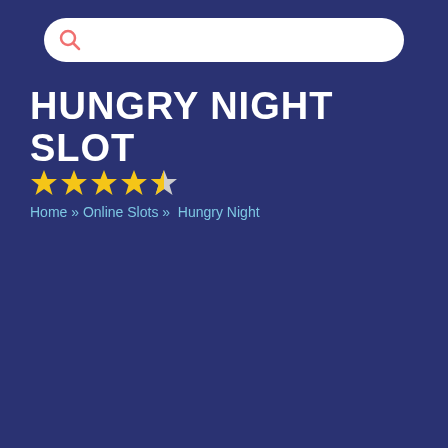[Figure (screenshot): Search bar with magnifying glass icon on dark blue background]
HUNGRY NIGHT SLOT
[Figure (infographic): Star rating showing 4.5 out of 5 stars in yellow]
Home » Online Slots » Hungry Night
[Figure (screenshot): Game card with black background showing a blue-purple gradient PLAY FOR FREE button and a pink/coral download arrow button]